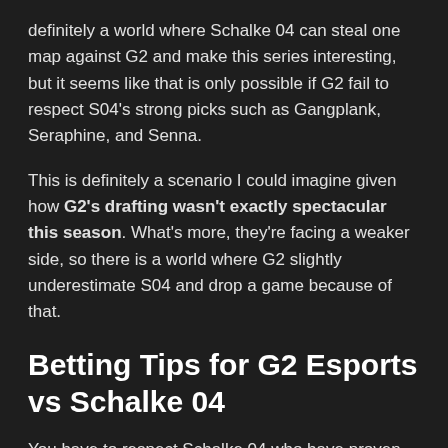definitely a world where Schalke 04 can steal one map against G2 and make this series interesting, but it seems like that is only possible if G2 fail to respect S04's strong picks such as Gangplank, Seraphine, and Senna.
This is definitely a scenario I could imagine given how G2's drafting wasn't exactly spectacular this season. What's more, they're facing a weaker side, so there is a world where G2 slightly underestimate S04 and drop a game because of that.
Betting Tips for G2 Esports vs Schalke 04
You have to respect Schalke 04 who have proven time and time again that they're not afraid to go toe-to-toe with any team in the league, and when everything clicks, S04 tend to perform exceptionally well. That said, we can't imagine...